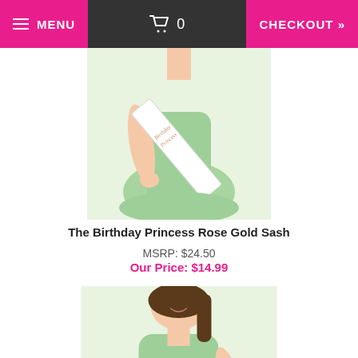MENU  🛒 0  CHECKOUT »
[Figure (photo): Woman wearing a white sash with 'Birthday Princess' text in rose gold letters, wearing a mint green dress]
The Birthday Princess Rose Gold Sash
MSRP: $24.50
Our Price: $14.99
[Figure (photo): Woman wearing a white sash with '18th Birthday Princess' text in rose gold letters, wearing a mint green dress]
18th Birthday Princess Rose Gold Sash